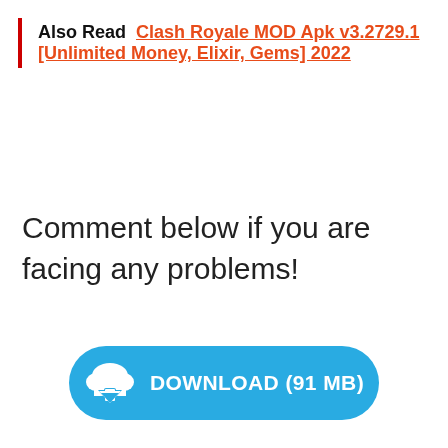Also Read  Clash Royale MOD Apk v3.2729.1 [Unlimited Money, Elixir, Gems] 2022
Comment below if you are facing any problems!
[Figure (other): Blue rounded download button with cloud download icon and text DOWNLOAD (91 MB)]
Related posts:
[Figure (other): Two thumbnail image previews at bottom of page]